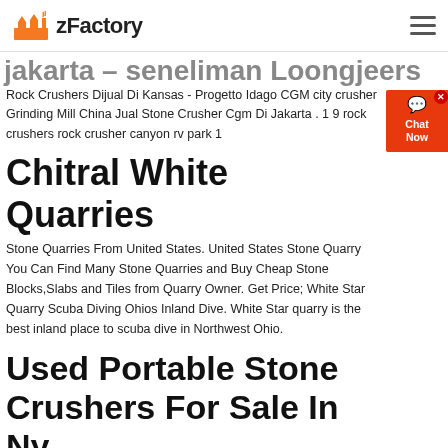zFactory
jakarta – seneliman Loongjeers
Rock Crushers Dijual Di Kansas - Progetto Idago CGM city crusher Grinding Mill China Jual Stone Crusher Cgm Di Jakarta . 1 9 rock crushers rock crusher canyon rv park 1
Chitral White Quarries
Stone Quarries From United States. United States Stone Quarry You Can Find Many Stone Quarries and Buy Cheap Stone Blocks,Slabs and Tiles from Quarry Owner. Get Price; White Star Quarry Scuba Diving Ohios Inland Dive. White Star quarry is the best inland place to scuba dive in Northwest Ohio.
Used Portable Stone Crushers For Sale In Ny
2021-7-20 · used portable stone crushers for sale in ny. May 31 2020 used portable stone crushers for sale in ny. used stone crusher for sale used stone crusher for sale. A wide variety of used stone crusher for